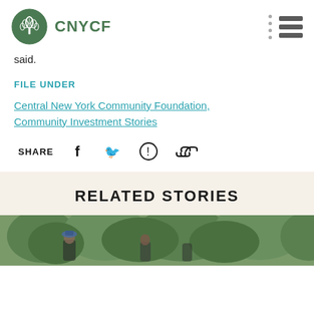CNYCF
said.
FILE UNDER
Central New York Community Foundation, Community Investment Stories
SHARE
RELATED STORIES
[Figure (photo): Outdoor photo showing people, green trees in background]